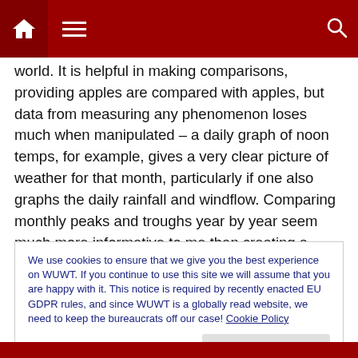Navigation bar with home icon, menu icon, and search icon
world. It is helpful in making comparisons, providing apples are compared with apples, but data from measuring any phenomenon loses much when manipulated – a daily graph of noon temps, for example, gives a very clear picture of weather for that month, particularly if one also graphs the daily rainfall and windflow. Comparing monthly peaks and troughs year by year seem much more informative to me than creating a picture that does not reflect reality. Here in the UK, politicians berate schools and teachers for not doing a decent job because around half of the school
We use cookies to ensure that we give you the best experience on WUWT. If you continue to use this site we will assume that you are happy with it. This notice is required by recently enacted EU GDPR rules, and since WUWT is a globally read website, we need to keep the bureaucrats off our case! Cookie Policy
Close and accept